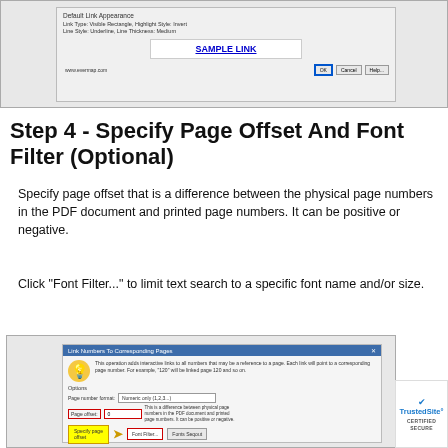[Figure (screenshot): Dialog window showing Default Link Appearance settings with Link Type: Visible Rectangle, Highlight Style: Invert, Line Style: Underline, Line Thickness: Medium, and a SAMPLE LINK preview with OK, Cancel, Help buttons]
Step 4 - Specify Page Offset And Font Filter (Optional)
Specify page offset that is a difference between the physical page numbers in the PDF document and printed page numbers. It can be positive or negative.
Click "Font Filter..." to limit text search to a specific font name and/or size.
[Figure (screenshot): Link Numbers To Corresponding Pages dialog showing page number format dropdown set to Numeric only (1,2,3...), Page offset field with red border showing 0, Font Filter button with red border, and Fonts Seqout button. Yellow highlighted area says Specify page offset. TrustedSite Certified Secure badge visible.]